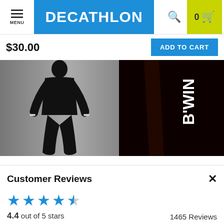MENU | DECATHLON | Search | 0 Cart
$30.00
ADD TO CART
[Figure (photo): Silhouette of a person wearing a full body suit, shown against a gray gradient background]
[Figure (photo): Close-up dark photo of a garment with partial B'WIN logo visible in white text]
Customer Reviews
4.4 out of 5 stars
1465 Reviews
845